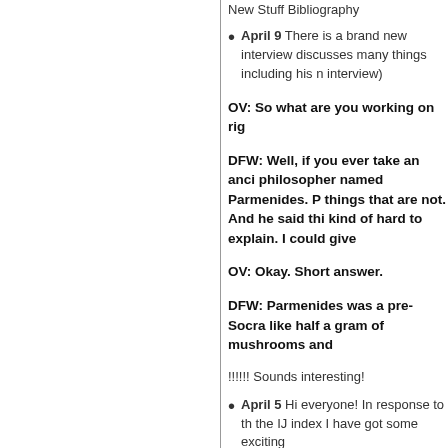New Stuff Bibliography
April 9 There is a brand new interview discusses many things including his n interview)
OV: So what are you working on rig
DFW: Well, if you ever take an anci philosopher named Parmenides. P things that are not. And he said thi kind of hard to explain. I could give
OV: Okay. Short answer.
DFW: Parmenides was a pre-Socra like half a gram of mushrooms and
!!!!!! Sounds interesting!
April 5 Hi everyone! In response to th the IJ index I have got some exciting